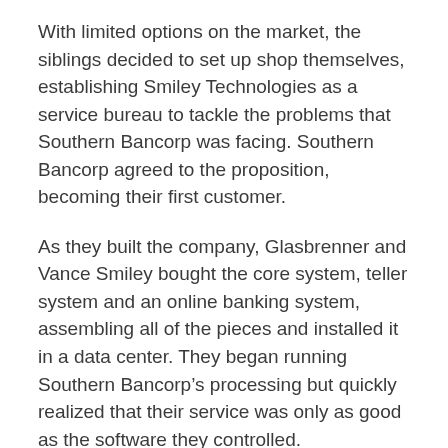With limited options on the market, the siblings decided to set up shop themselves, establishing Smiley Technologies as a service bureau to tackle the problems that Southern Bancorp was facing. Southern Bancorp agreed to the proposition, becoming their first customer.
As they built the company, Glasbrenner and Vance Smiley bought the core system, teller system and an online banking system, assembling all of the pieces and installed it in a data center. They began running Southern Bancorp's processing but quickly realized that their service was only as good as the software they controlled.
“It’s really hard to provide good service if you don’t have control of the software. We were probably naïve. We thought, ‘Well, we’ll just build our own core system then.’